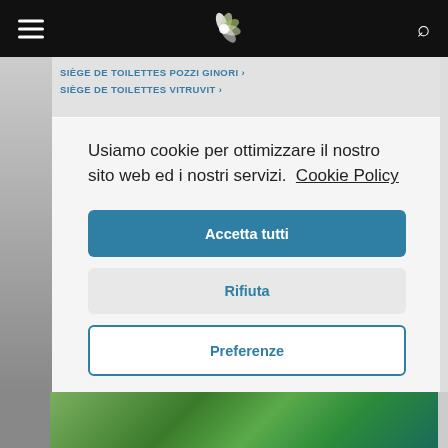Header navigation bar with hamburger menu, logo, and search icon
SIÈGE DE TOILETTES POZZI GINORI › SIÈGE DE TOILETTES VITRUVIT ›
Usiamo cookie per ottimizzare il nostro sito web ed i nostri servizi.  Cookie Policy
Accetta tutti
Rifiuta
Preferenze
[Figure (photo): Bottom image strip showing green foliage/plant imagery]